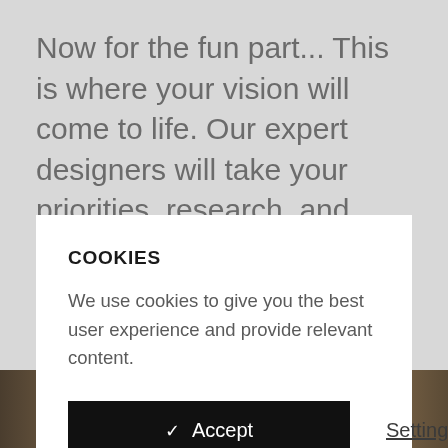Now for the fun part... This is where your vision will come to life. Our expert designers will take your priorities, research, and measurements, and turn them into your dream kitchen...
COOKIES
We use cookies to give you the best user experience and provide relevant content.
✓  Accept
Settings
[Figure (photo): A partial photo strip at the bottom of the page showing a person in what appears to be an interior/kitchen setting with warm brown tones.]